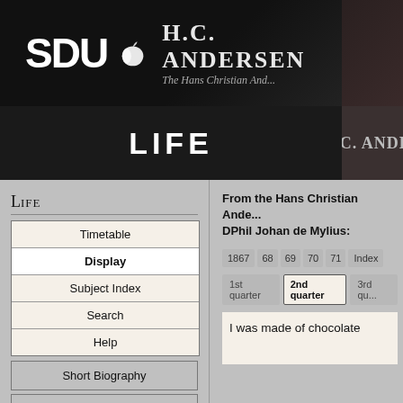[Figure (screenshot): SDU logo with apple icon and H.C. Andersen website header on dark background]
LIFE
H.C. ANDER
Life
Timetable
Display
Subject Index
Search
Help
Short Biography
Short Chronology
Works
From the Hans Christian Ande... DPhil Johan de Mylius:
1867  68  69  70  71  Index
1st quarter  2nd quarter  3rd qu...
I was made of chocolate